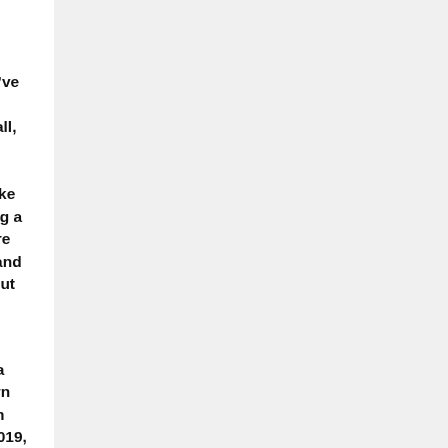find new ways to move people and drugs into the United States.
“Over the past year, within 2020, we’ve had a record number of marine interdictions, including pangas [small, fast boats], jet skis, swimmers, and paddle boaters,” Border Patrol San Diego Chief Patrol Agent Aaron Heitke told the Washington Examiner during a land and sea tour. “The wall structure itself is solidifying the land border, and it’s forcing the smugglers to come out into the maritime environment.”
Agents, using jet skis and boats to patrol the 20-mile stretch from Chula Vista at the border up past downtown San Diego, made 302 interdictions in fiscal 2020, which ran from Oct. 1, 2019, through Sept. 30, compared to 195 the previous year and 88 in 2015. One such incident resulted in the seizure of a small boat that was loaded with more than 3,000 pounds